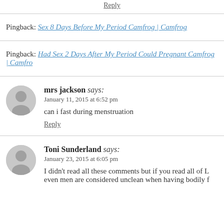Reply
Pingback: Sex 8 Days Before My Period Camfrog | Camfrog
Pingback: Had Sex 2 Days After My Period Could Pregnant Camfrog | Camfro…
mrs jackson says: January 11, 2015 at 6:52 pm
can i fast during menstruation
Reply
Toni Sunderland says: January 23, 2015 at 6:05 pm
I didn't read all these comments but if you read all of L… even men are considered unclean when having bodily f…